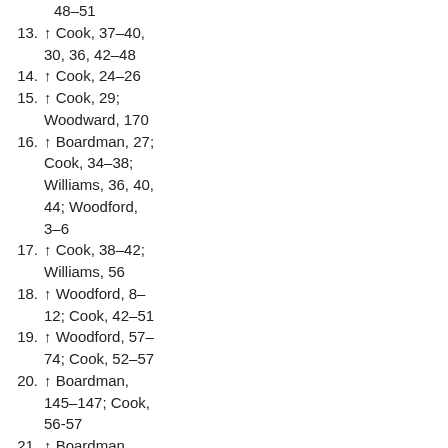48–51
13. ↑ Cook, 37–40, 30, 36, 42–48
14. ↑ Cook, 24–26
15. ↑ Cook, 29; Woodward, 170
16. ↑ Boardman, 27; Cook, 34–38; Williams, 36, 40, 44; Woodford, 3–6
17. ↑ Cook, 38–42; Williams, 56
18. ↑ Woodford, 8–12; Cook, 42–51
19. ↑ Woodford, 57–74; Cook, 52–57
20. ↑ Boardman, 145–147; Cook, 56-57
21. ↑ Boardman, 185–187